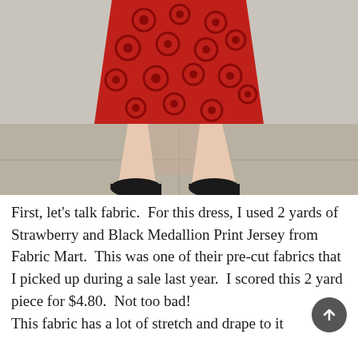[Figure (photo): Photo of a person from the waist down wearing a red and black medallion print dress and black flat shoes, standing on a sidewalk with a light-colored wall behind them.]
First, let's talk fabric.  For this dress, I used 2 yards of Strawberry and Black Medallion Print Jersey from Fabric Mart.  This was one of their pre-cut fabrics that I picked up during a sale last year.  I scored this 2 yard piece for $4.80.  Not too bad!  This fabric has a lot of stretch and drape to it...